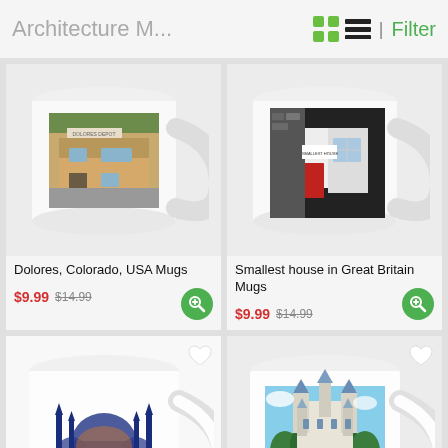Architecture M... | Filter
[Figure (photo): White mug with photo of Dolores, Colorado USA building (tan/brown building on a street)]
[Figure (photo): White mug with photo of the smallest house in Great Britain (red door, black and white cottage)]
Dolores, Colorado, USA Mugs
$9.99  $14.99
Smallest house in Great Britain Mugs
$9.99  $14.99
[Figure (illustration): White mug with Istanbul Blue Mosque watercolor illustration and 'Istanbul' text]
[Figure (photo): White mug with photo of Neuschwanstein Castle surrounded by trees]